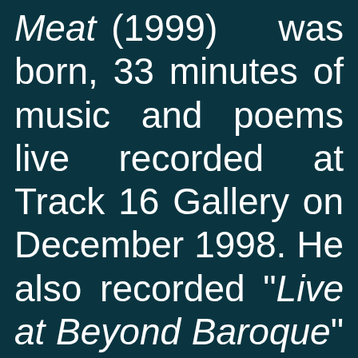Meat (1999) was born, 33 minutes of music and poems live recorded at Track 16 Gallery on December 1998. He also recorded "Live at Beyond Baroque" (1999), a two disc CD in which Viggo surrounded himself